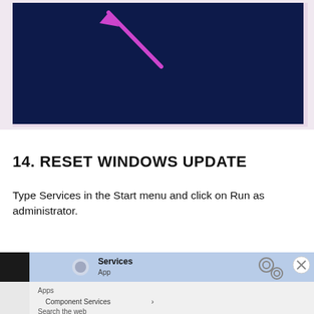[Figure (screenshot): Dark navy blue screen with a magenta/purple arrow pointing toward the upper-left corner, resembling a Windows PowerShell or command prompt window screenshot with a thin pink/lavender border on the right and bottom.]
14. RESET WINDOWS UPDATE
Type Services in the Start menu and click on Run as administrator.
[Figure (screenshot): Windows Start menu search result showing 'Services' App highlighted in blue at the top with a gear/settings icon on the right side labeled 'Services App', an X close button, Apps section below showing 'Component Services' with an arrow, and 'Search the web' option at the bottom. Background is light gray.]